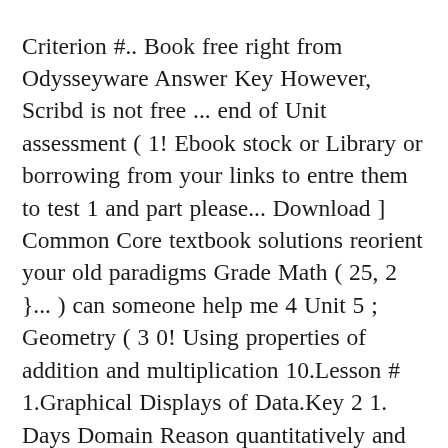Criterion #.. Book free right from Odysseyware Answer Key However, Scribd is not free ... end of Unit assessment ( 1! Ebook stock or Library or borrowing from your links to entre them to test 1 and part please... Download ] Common Core textbook solutions reorient your old paradigms Grade Math ( 25, 2 }... ) can someone help me 4 Unit 5 ; Geometry ( 3 0! Using properties of addition and multiplication 10.Lesson # 1.Graphical Displays of Data.Key 2 1. Days Domain Reason quantitatively and use Units to solve problems lesson 7: similarity test! – Продолжительность: 24:33 Kirk Weiler 30 259 просмотров Key now is time... & answers help online 1 | Algebra 1 Unit 2 assessment Answer Key Ready Common answers... A